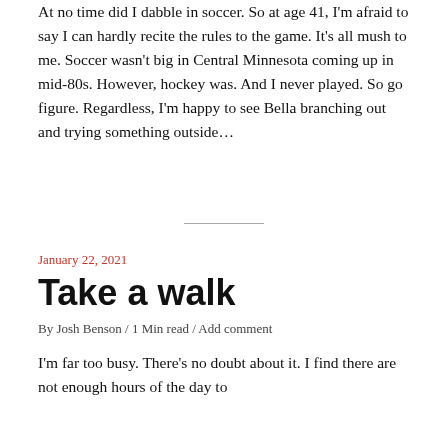At no time did I dabble in soccer. So at age 41, I'm afraid to say I can hardly recite the rules to the game. It's all mush to me. Soccer wasn't big in Central Minnesota coming up in mid-80s. However, hockey was. And I never played. So go figure. Regardless, I'm happy to see Bella branching out and trying something outside...
January 22, 2021
Take a walk
By Josh Benson / 1 Min read / Add comment
I'm far too busy. There's no doubt about it. I find there are not enough hours of the day to